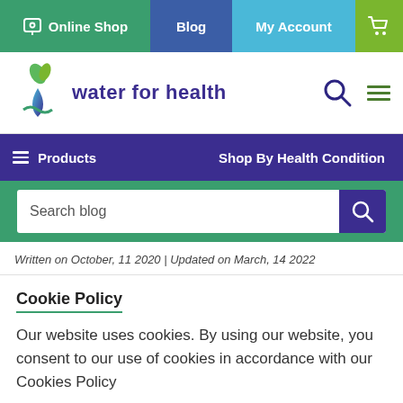Online Shop | Blog | My Account | Cart
[Figure (logo): Water for Health logo with green plant and water drop icon, purple text 'water for health']
Products | Shop By Health Condition
[Figure (screenshot): Search blog input field with purple search button]
Written on October, 11 2020 | Updated on March, 14 2022
Cookie Policy
Our website uses cookies. By using our website, you consent to our use of cookies in accordance with our Cookies Policy
✓ Accept